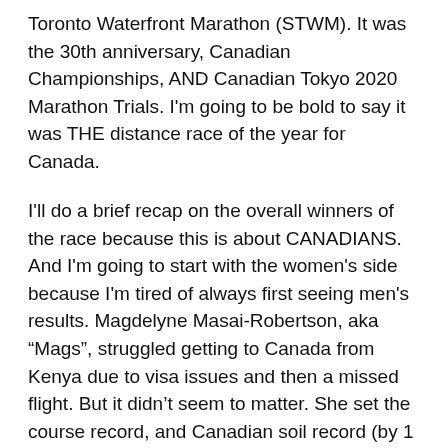Toronto Waterfront Marathon (STWM). It was the 30th anniversary, Canadian Championships, AND Canadian Tokyo 2020 Marathon Trials. I'm going to be bold to say it was THE distance race of the year for Canada.
I'll do a brief recap on the overall winners of the race because this is about CANADIANS. And I'm going to start with the women's side because I'm tired of always first seeing men's results. Magdelyne Masai-Robertson, aka “Mags”, struggled getting to Canada from Kenya due to visa issues and then a missed flight. But it didn't seem to matter. She set the course record, and Canadian soil record (by 1 second!), winning the race in 2:22:16, which was a 4 minute personal best. Philemon Rono, aka “Baby Police”, also from Kenya, returned to Toronto for redemption and was successful with a surge near the end of the race, winning his third STWM (2016, 2017, 2019) in a time of 2:05:00. It was also a course record and